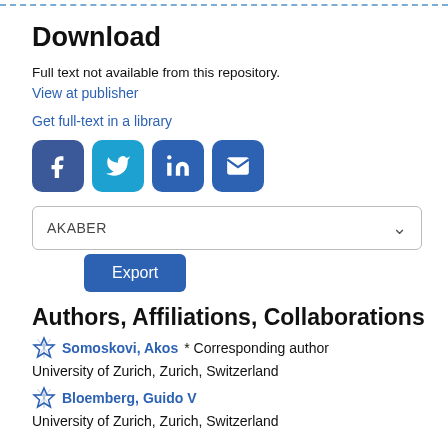Download
Full text not available from this repository.
View at publisher
Get full-text in a library
[Figure (infographic): Social sharing icons: Facebook, Twitter, LinkedIn, Email]
AKABER
Export
Authors, Affiliations, Collaborations
Somoskovi, Akos* Corresponding author
University of Zurich, Zurich, Switzerland
Bloemberg, Guido V
University of Zurich, Zurich, Switzerland